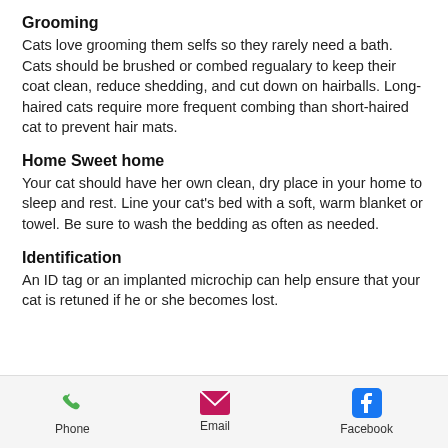Grooming
Cats love grooming them selfs so they rarely need a bath. Cats should be brushed or combed regualary to keep their coat clean, reduce shedding, and cut down on hairballs. Long-haired cats require more frequent combing than short-haired cat to prevent hair mats.
Home Sweet home
Your cat should have her own clean, dry place in your home to sleep and rest. Line your cat's bed with a soft, warm blanket or towel. Be sure to wash the bedding as often as needed.
Identification
An ID tag or an implanted microchip can help ensure that your cat is retuned if he or she becomes lost.
Phone   Email   Facebook